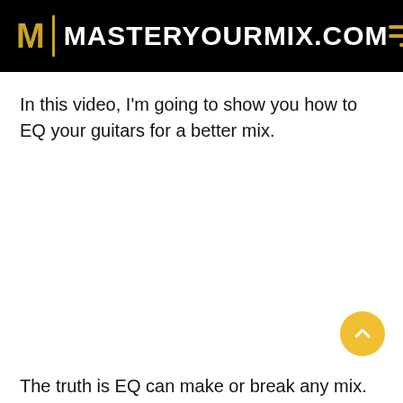MASTERYOURMIX.COM
In this video, I’m going to show you how to EQ your guitars for a better mix.
The truth is EQ can make or break any mix.